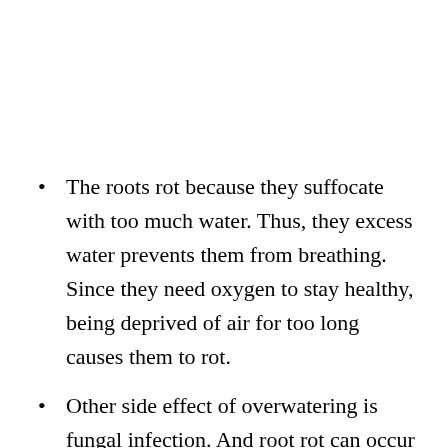The roots rot because they suffocate with too much water. Thus, they excess water prevents them from breathing. Since they need oxygen to stay healthy, being deprived of air for too long causes them to rot.
Other side effect of overwatering is fungal infection. And root rot can occur because of certain fungal diseases. Again, it is the excess water that causes the rotting roots,